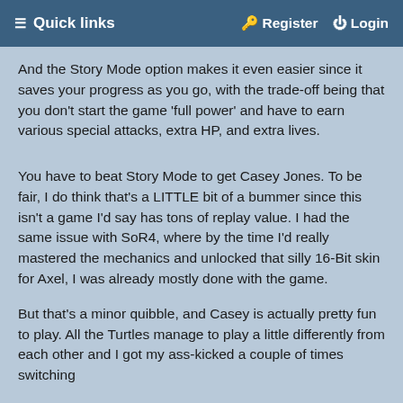≡ Quick links   🔑 Register   ⏻ Login
And the Story Mode option makes it even easier since it saves your progress as you go, with the trade-off being that you don't start the game 'full power' and have to earn various special attacks, extra HP, and extra lives.
You have to beat Story Mode to get Casey Jones. To be fair, I do think that's a LITTLE bit of a bummer since this isn't a game I'd say has tons of replay value. I had the same issue with SoR4, where by the time I'd really mastered the mechanics and unlocked that silly 16-Bit skin for Axel, I was already mostly done with the game.
But that's a minor quibble, and Casey is actually pretty fun to play. All the Turtles manage to play a little differently from each other and I got my ass-kicked a couple of times switching